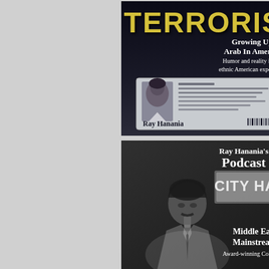[Figure (illustration): Book cover for 'TERRORIST: Growing Up Arab In America — Humor and reality in the ethnic American experience' by Ray Hanania. Dark background with large yellow bold TERRORIST text, white subtitle text, and a photo ID card image of Ray Hanania.]
[Figure (illustration): Podcast promotional image for Ray Hanania's Podcast — Middle East Mainstream, Award-winning Columnist. Black and white photo of Ray Hanania in front of a City Hall sign.]